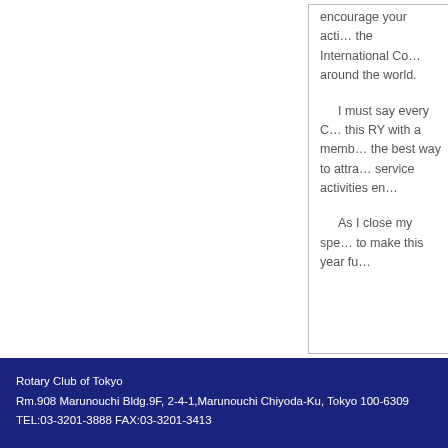encourage your acti... the International Co... around the world.

I must say every C... this RY with a memb... the best way to attra... service activities en...

As I close my spe... to make this year fu...
Rotary Club of Tokyo
Rm.908 Marunouchi Bldg.9F, 2-4-1,Marunouchi Chiyoda-Ku, Tokyo 100-6309
TEL:03-3201-3888 FAX:03-3201-3413